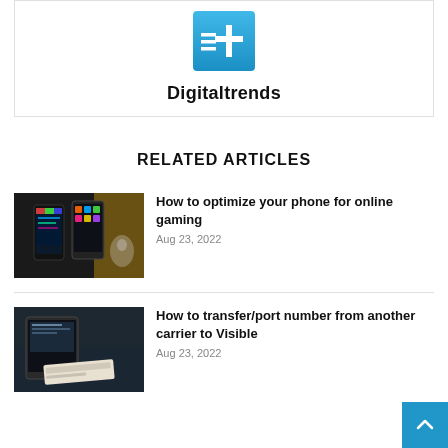[Figure (logo): Digitaltrends logo: blue square with white plus sign and horizontal lines]
Digitaltrends
RELATED ARTICLES
[Figure (photo): Two smartphones with glowing screens on a dark surface with yellow background]
How to optimize your phone for online gaming
Aug 23, 2022
[Figure (photo): A smartphone and a credit card on a dark glass surface]
How to transfer/port number from another carrier to Visible
Aug 23, 2022